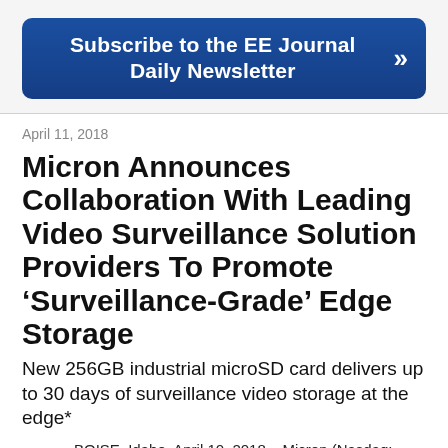[Figure (other): Blue rounded banner button: 'Subscribe to the EE Journal Daily Newsletter' with double right-arrow chevron on the right side]
April 11, 2018
Micron Announces Collaboration With Leading Video Surveillance Solution Providers To Promote ‘Surveillance-Grade’ Edge Storage
New 256GB industrial microSD card delivers up to 30 days of surveillance video storage at the edge*
BOISE, Idaho, April 10, 2018 – Micron (Nasdaq: MU) today announced general availability of the 128GB and 256GB density of edge storage microSD card solutions and collaboration with several leading video surveillance solution providers to promote surveillance-grade edge